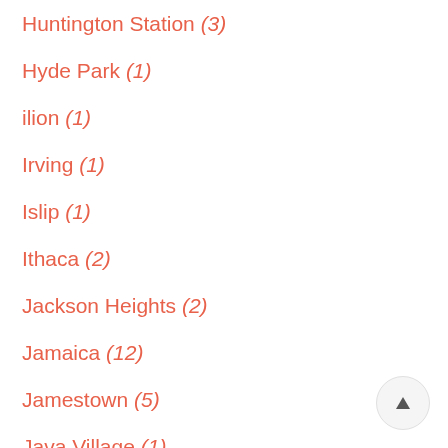Huntington Station (3)
Hyde Park (1)
ilion (1)
Irving (1)
Islip (1)
Ithaca (2)
Jackson Heights (2)
Jamaica (12)
Jamestown (5)
Java Village (1)
Johnstown (1)
Katonah (1)